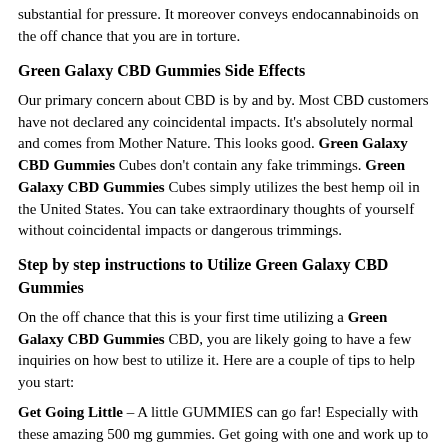substantial for pressure. It moreover conveys endocannabinoids on the off chance that you are in torture.
Green Galaxy CBD Gummies Side Effects
Our primary concern about CBD is by and by. Most CBD customers have not declared any coincidental impacts. It’s absolutely normal and comes from Mother Nature. This looks good. Green Galaxy CBD Gummies Cubes don’t contain any fake trimmings. Green Galaxy CBD Gummies Cubes simply utilizes the best hemp oil in the United States. You can take extraordinary thoughts of yourself without coincidental impacts or dangerous trimmings.
Step by step instructions to Utilize Green Galaxy CBD Gummies
On the off chance that this is your first time utilizing a Green Galaxy CBD Gummies CBD, you are likely going to have a few inquiries on how best to utilize it. Here are a couple of tips to help you start:
Get Going Little – A little GUMMIES can go far! Especially with these amazing 500 mg gummies. Get going with one and work up to more on the off chance that you need it.